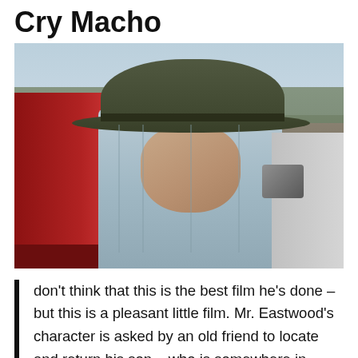Cry Macho
[Figure (photo): A man wearing a wide-brimmed olive/dark green fedora-style hat and a light blue denim shirt stands next to a red car door, with rocky terrain and sparse vegetation visible in the background. The man appears to be Clint Eastwood, looking to the side with a serious expression.]
don't think that this is the best film he's done – but this is a pleasant little film. Mr. Eastwood's character is asked by an old friend to locate and return his son – who is somewhere in Mexico. It's a